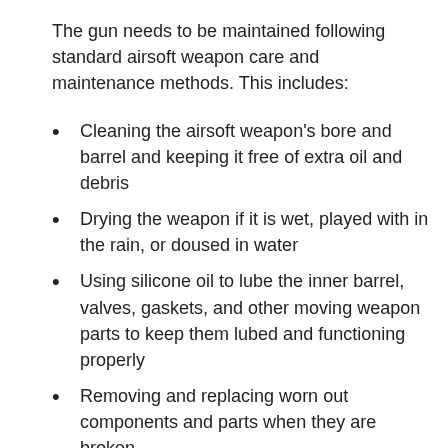The gun needs to be maintained following standard airsoft weapon care and maintenance methods. This includes:
Cleaning the airsoft weapon's bore and barrel and keeping it free of extra oil and debris
Drying the weapon if it is wet, played with in the rain, or doused in water
Using silicone oil to lube the inner barrel, valves, gaskets, and other moving weapon parts to keep them lubed and functioning properly
Removing and replacing worn out components and parts when they are broken
Caring for and oiling the hop-up unit, hop-